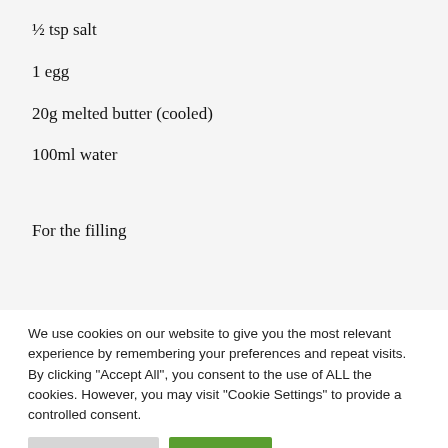½ tsp salt
1 egg
20g melted butter (cooled)
100ml water
For the filling
We use cookies on our website to give you the most relevant experience by remembering your preferences and repeat visits. By clicking "Accept All", you consent to the use of ALL the cookies. However, you may visit "Cookie Settings" to provide a controlled consent.
Cookie Settings
Accept All